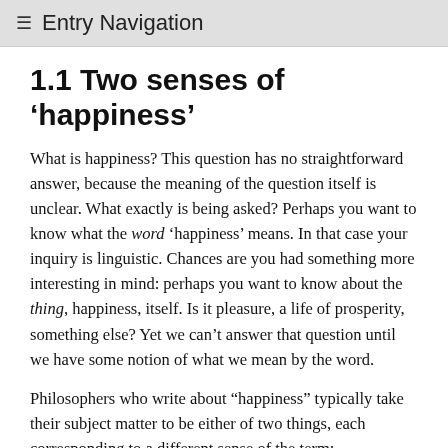≡ Entry Navigation
1.1 Two senses of 'happiness'
What is happiness? This question has no straightforward answer, because the meaning of the question itself is unclear. What exactly is being asked? Perhaps you want to know what the word 'happiness' means. In that case your inquiry is linguistic. Chances are you had something more interesting in mind: perhaps you want to know about the thing, happiness, itself. Is it pleasure, a life of prosperity, something else? Yet we can't answer that question until we have some notion of what we mean by the word.
Philosophers who write about “happiness” typically take their subject matter to be either of two things, each corresponding to a different sense of the term:
A state of mind
A life that goes well for the person leading it
In the first case our concern is simply a psychological